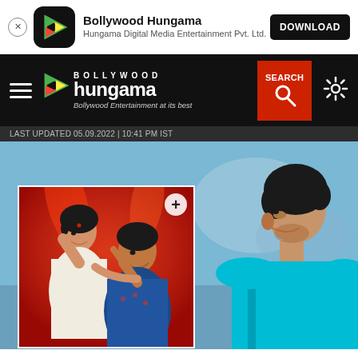[Figure (screenshot): App install banner for Bollywood Hungama app with close button, app icon, title, subtitle, and Download button]
Bollywood Hungama
Hungama Digital Media Entertainment Pvt. Ltd.
[Figure (screenshot): Bollywood Hungama website navigation bar with hamburger menu, logo, SEARCH button and settings icon]
LAST UPDATED 05.09.2022 | 10:41 PM IST
[Figure (photo): Main hero image showing a man in teal/cyan shirt in profile view against a blurred background, with an overlapping card image of a man and woman from a Bollywood movie/show with a + badge]